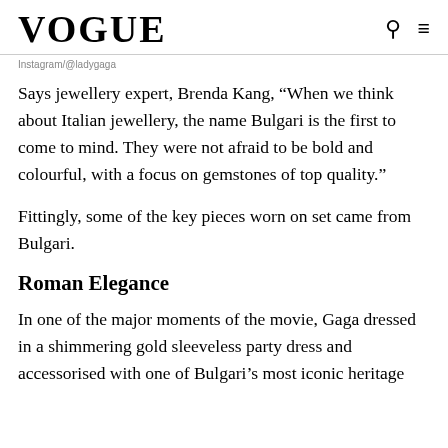VOGUE
Instagram/@ladygaga
Says jewellery expert, Brenda Kang, “When we think about Italian jewellery, the name Bulgari is the first to come to mind. They were not afraid to be bold and colourful, with a focus on gemstones of top quality.”
Fittingly, some of the key pieces worn on set came from Bulgari.
Roman Elegance
In one of the major moments of the movie, Gaga dressed in a shimmering gold sleeveless party dress and accessorised with one of Bulgari’s most iconic heritage